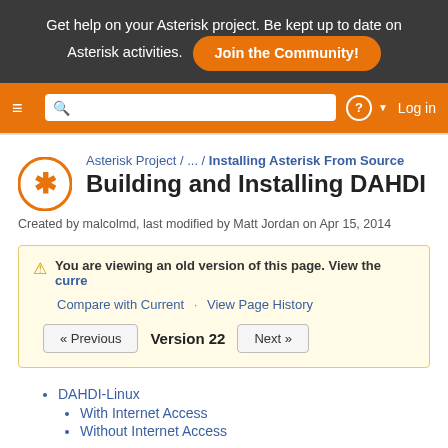Get help on your Asterisk project. Be kept up to date on Asterisk activities. Join the Community!
≡  [search]  ?  Log in
Asterisk Project / ... / Installing Asterisk From Source
Building and Installing DAHDI
Created by malcolmd, last modified by Matt Jordan on Apr 15, 2014
You are viewing an old version of this page. View the curre
Compare with Current · View Page History
« Previous   Version 22   Next »
DAHDI-Linux
With Internet Access
Without Internet Access